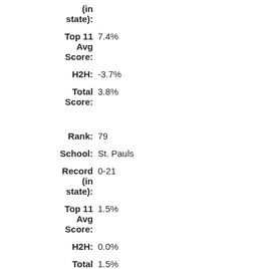Record (in state):
Top 11 Avg Score: 7.4%
H2H: -3.7%
Total Score: 3.8%
Rank: 79
School: St. Pauls
Record (in state): 0-21
Top 11 Avg Score: 1.5%
H2H: 0.0%
Total Score: 1.5%